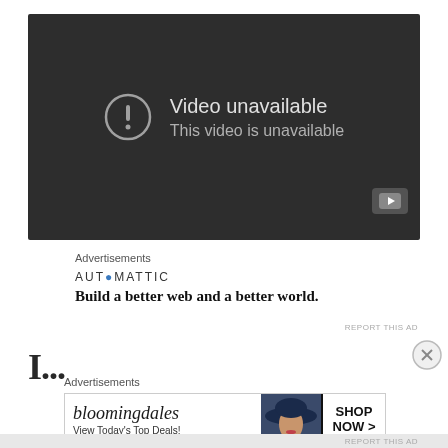[Figure (screenshot): YouTube-style video player showing 'Video unavailable' error message with an exclamation mark icon and a YouTube logo button in the bottom right]
Advertisements
[Figure (screenshot): Automattic advertisement: logo text 'AUTOMATTIC' with tagline 'Build a better web and a better world.']
REPORT THIS AD
I... (partial bold text, cut off at bottom)
Advertisements
[Figure (screenshot): Bloomingdale's advertisement banner with logo, 'View Today's Top Deals!', woman in hat, and 'SHOP NOW >' button]
REPORT THIS AD